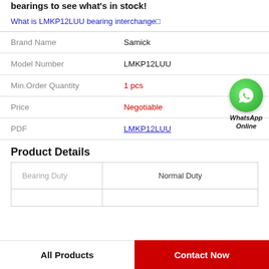Weight, Kilogram Find Samick LMKP12LUU linear bearings to see what's in stock!
What is LMKP12LUU bearing interchange?
| Field | Value |
| --- | --- |
| Brand Name | Samick |
| Model Number | LMKP12LUU |
| Min.Order Quantity | 1 pcs |
| Price | Negotiable |
| PDF | LMKP12LUU |
[Figure (logo): WhatsApp Online green phone icon with text WhatsApp Online]
Product Details
| Bearing Duty | Normal Duty |
| --- | --- |
All Products
Contact Now